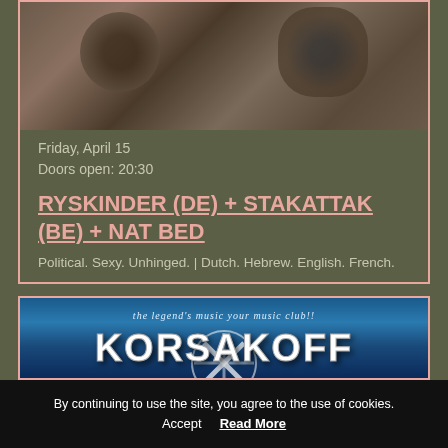[Figure (photo): Grainy dark band promotional photo with figures visible against a brown/sepia toned background]
Friday, April 15
Doors open: 20:30
RYSKINDER (DE) + STAKATTAK (BE) + NAT BED
Political. Sexy. Unhinged. | Dutch. Hebrew. English. French.
[Figure (photo): Promotional image for Korsakoff with blue background showing logo and large white text reading KORSAKOFF, with subtitle 'the legend's music your music club!!']
By continuing to use the site, you agree to the use of cookies.
Accept
Read More